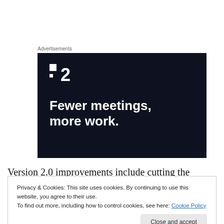Advertisements
[Figure (other): Advertisement banner for a product called '2' with the tagline 'Fewer meetings, more work.' on a dark navy background with a logo showing two squares and the number 2.]
Version 2.0 improvements include cutting the sleeve and
Privacy & Cookies: This site uses cookies. By continuing to use this website, you agree to their use.
To find out more, including how to control cookies, see here: Cookie Policy
cow on this version is awesome. It is pretty and drapey